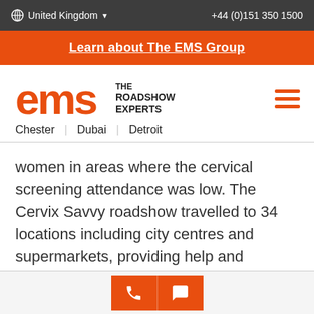United Kingdom  +44 (0)151 350 1500
Learn about The EMS Group
[Figure (logo): EMS The Roadshow Experts logo with locations Chester | Dubai | Detroit]
women in areas where the cervical screening attendance was low. The Cervix Savvy roadshow travelled to 34 locations including city centres and supermarkets, providing help and support to the public.
Phone and chat buttons